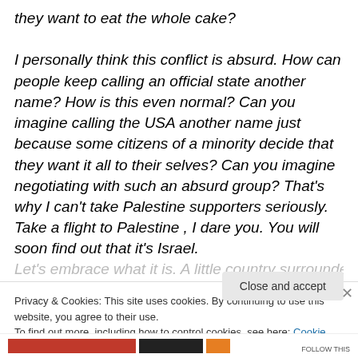they want to eat the whole cake?
I personally think this conflict is absurd. How can people keep calling an official state another name? How is this even normal? Can you imagine calling the USA another name just because some citizens of a minority decide that they want it all to their selves? Can you imagine negotiating with such an absurd group? That's why I can't take Palestine supporters seriously. Take a flight to Palestine , I dare you. You will soon find out that it's Israel.
Let's embrace what it is. A little country surrounded by...
Privacy & Cookies: This site uses cookies. By continuing to use this website, you agree to their use.
To find out more, including how to control cookies, see here: Cookie Policy